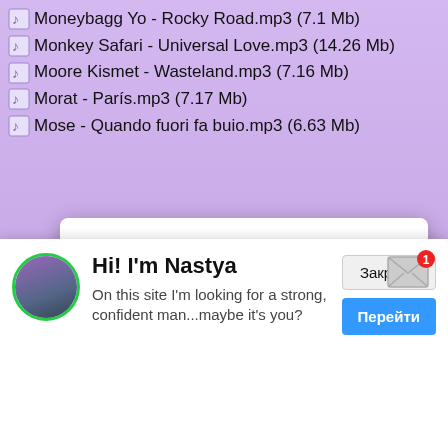Moneybagg Yo - Rocky Road.mp3 (7.1 Mb)
Monkey Safari - Universal Love.mp3 (14.26 Mb)
Moore Kismet - Wasteland.mp3 (7.16 Mb)
Morat - París.mp3 (7.17 Mb)
Mose - Quando fuori fa buio.mp3 (6.63 Mb)
[Figure (screenshot): Browser notification popup from music-torrent.com asking 'Would like to send you notifications' with Allow and Discard buttons]
littest.mp3 (5.2 Mb)
NSB - you are my star.mp3 (7.8 Mb)
Nand - Weißer Ferrari.mp3 (5.56 Mb)
Nanpa Básico - Me Falta la Mitad.mp3 (7.75 Mb)
Naps - La Maxance.mp3 (6.23 Mb)
[Figure (screenshot): Ad banner: Hi! I'm Nastya - On this site I'm looking for a strong, confident man...maybe it's you? with Закрыть and Перейти buttons]
Neve - Not Like This.mp3 (7.99 Mb)
Nick Mulvey - Mecca.mp3 (11.38 Mb)
Ninajirachi - Start Small.mp3 (8.88 Mb)